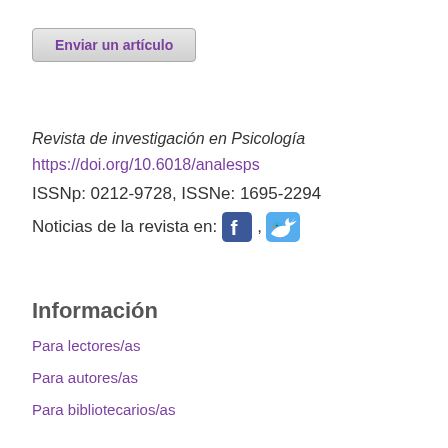Enviar un artículo
Revista de investigación en Psicología
https://doi.org/10.6018/analesps
ISSNp: 0212-9728, ISSNe: 1695-2294
Noticias de la revista en: [Facebook icon], [Twitter icon]
Información
Para lectores/as
Para autores/as
Para bibliotecarios/as